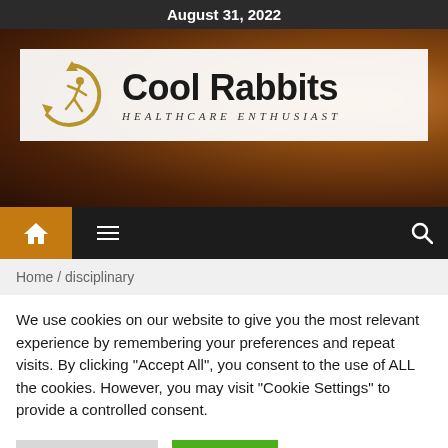August 31, 2022
[Figure (logo): Cool Rabbits Healthcare Enthusiast logo with circular running figure icon]
[Figure (infographic): Navigation bar with home icon, hamburger menu icon, and search icon on dark background]
Home / disciplinary
We use cookies on our website to give you the most relevant experience by remembering your preferences and repeat visits. By clicking "Accept All", you consent to the use of ALL the cookies. However, you may visit "Cookie Settings" to provide a controlled consent.
Cookie Settings   Accept All